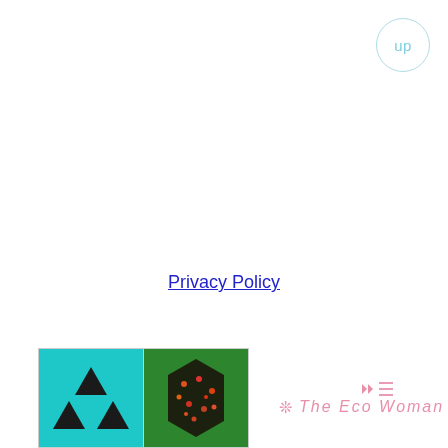up
Privacy Policy
[Figure (photo): Two thumbnail images side by side: left shows a teal/cyan background with black radioactive-style triangular symbols; right shows a dark hexagonal shape with colorful pixel/mosaic pattern on green background]
The Eco Woman